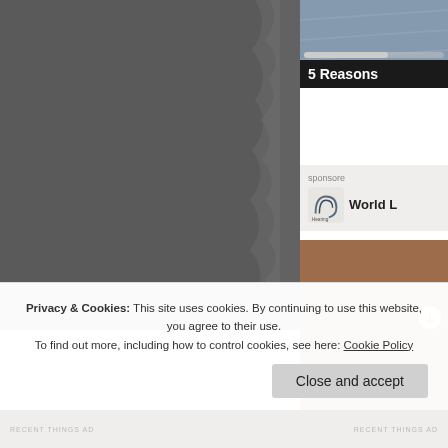[Figure (photo): Large dark gray torn paper or shadow photo on the left side of the page]
[Figure (photo): Small partial photo in the upper right, appears to show denim/fabric in blue tones]
5 Reasons
sponsored
World L
[Figure (photo): Brown/tan colored photo on the right lower sidebar]
Privacy & Cookies: This site uses cookies. By continuing to use this website, you agree to their use.
To find out more, including how to control cookies, see here: Cookie Policy
Close and accept
RECENT THINGS AD